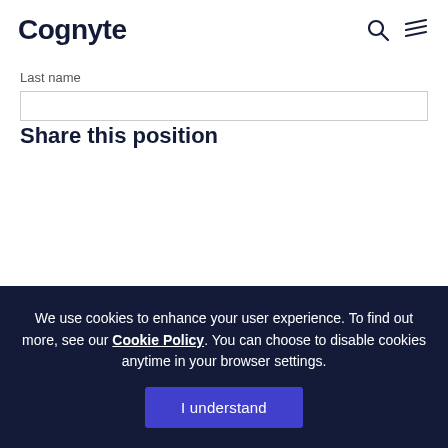Cognyte
Last name
Share this position
We use cookies to enhance your user experience. To find out more, see our Cookie Policy. You can choose to disable cookies anytime in your browser settings.
I understand